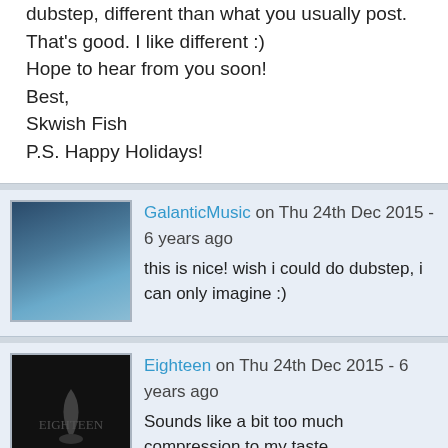dubstep, different than what you usually post. That's good. I like different :)

Hope to hear from you soon!

Best,
Skwish Fish

P.S. Happy Holidays!
GalanticMusic on Thu 24th Dec 2015 - 6 years ago
this is nice! wish i could do dubstep, i can only imagine :)
Eighteen on Thu 24th Dec 2015 - 6 years ago
Sounds like a bit too much compression to my taste,
it seems like everything is on the same level,